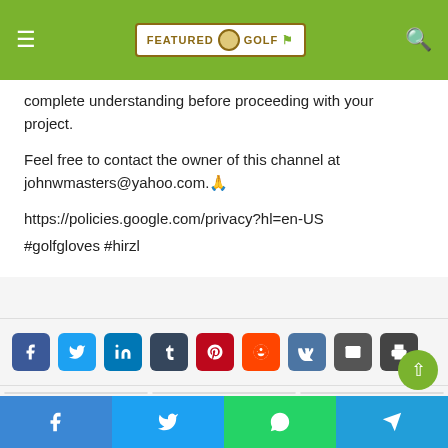Featured Golf — information found on this channel, in conjunction with other trustworthy sources, to ensure a more complete understanding before proceeding with your project.
complete understanding before proceeding with your project.
Feel free to contact the owner of this channel at johnwmasters@yahoo.com.🙏
https://policies.google.com/privacy?hl=en-US
#golfgloves #hirzl
[Figure (screenshot): Row of social media share buttons: Facebook, Twitter, LinkedIn, Tumblr, Pinterest, Reddit, VK, Email, Print]
[Figure (screenshot): Product thumbnail images in a row]
Facebook | Twitter | WhatsApp | Telegram